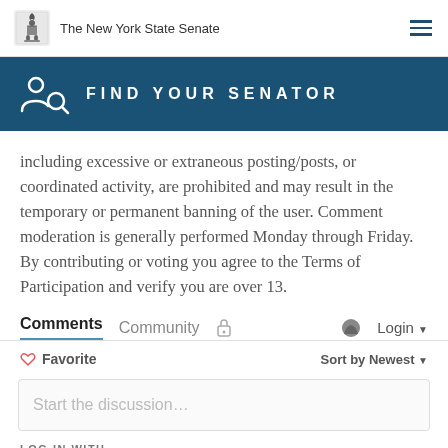The New York State Senate
[Figure (infographic): FIND YOUR SENATOR banner with person/search icon on dark blue background]
including excessive or extraneous posting/posts, or coordinated activity, are prohibited and may result in the temporary or permanent banning of the user. Comment moderation is generally performed Monday through Friday. By contributing or voting you agree to the Terms of Participation and verify you are over 13.
Comments  Community  🔒  💬 Login ▾
♡ Favorite    Sort by Newest ▾
Start the discussion...
LOG IN WITH